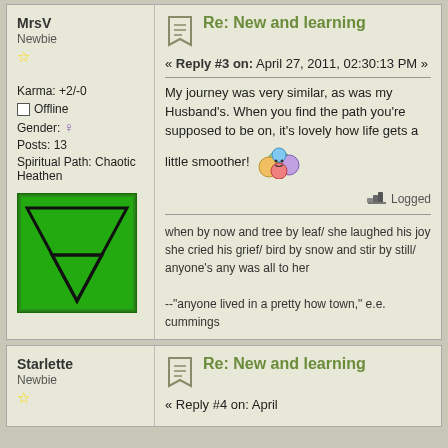MrsV
Newbie
☆
Karma: +2/-0
Offline
Gender: ♀
Posts: 13
Spiritual Path: Chaotic Heathen
[Figure (illustration): Green avatar with downward-pointing triangle symbol (earth/water alchemical sign) on dark green background]
[Figure (illustration): Forum reply icon - bookmark/note shape with lines]
Re: New and learning
« Reply #3 on: April 27, 2011, 02:30:13 PM »
My journey was very similar, as was my Husband's. When you find the path you're supposed to be on, it's lovely how life gets a little smoother!
[Figure (illustration): Colorful group of cartoon smiley face characters clustered together]
Logged
when by now and tree by leaf/ she laughed his joy she cried his grief/ bird by snow and stir by still/ anyone's any was all to her

--"anyone lived in a pretty how town," e.e. cummings
Starlette
Newbie
☆
[Figure (illustration): Forum reply icon - bookmark/note shape with lines]
Re: New and learning
« Reply #4 on: April